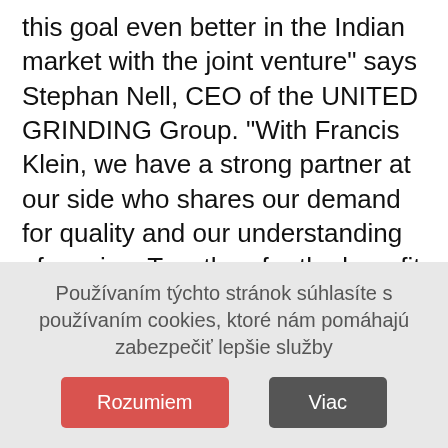this goal even better in the Indian market with the joint venture" says Stephan Nell, CEO of the UNITED GRINDING Group. "With Francis Klein, we have a strong partner at our side who shares our demand for quality and our understanding of service. Together, for the benefit of our clientele, we will bundle our competencies, be present even more powerfully in the market, intensify our sales and service ac-tivities, and be able to be on site with our customers even faster." Nell continues, "I would like to take this opportunity to thank Francis Klein for the trusting cooperation over the past years. I am convinced that together we will positively shape the future of the Indian machine tool industry."
Používaním týchto stránok súhlasíte s používaním cookies, ktoré nám pomáhajú zabezpečiť lepšie služby